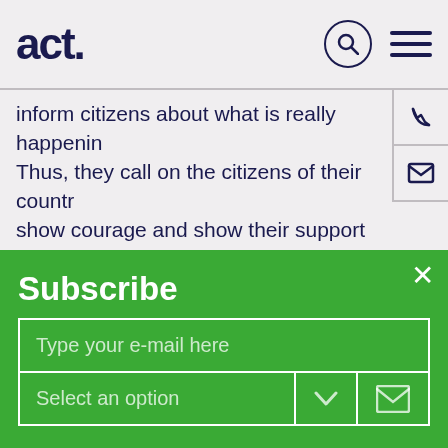act.
inform citizens about what is really happening. Thus, they call on the citizens of their country to show courage and show their support and support not only in words but also in deeds. Also they point out to the enemy that no one is going to run away from the front line, because not imperial goals are at stake, but the democratic state of Ukrainians.
The form of communication between Zelensky
Subscribe
Type your e-mail here
Select an option